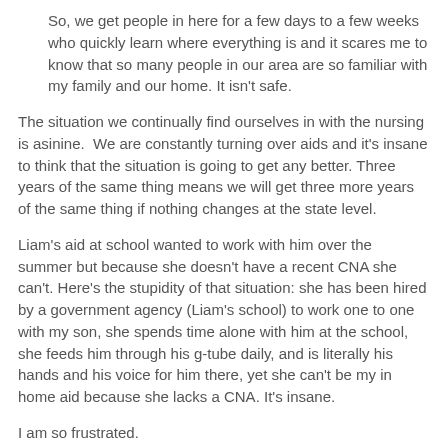So, we get people in here for a few days to a few weeks who quickly learn where everything is and it scares me to know that so many people in our area are so familiar with my family and our home. It isn't safe.
The situation we continually find ourselves in with the nursing is asinine.  We are constantly turning over aids and it's insane to think that the situation is going to get any better. Three years of the same thing means we will get three more years of the same thing if nothing changes at the state level.
Liam's aid at school wanted to work with him over the summer but because she doesn't have a recent CNA she can't. Here's the stupidity of that situation: she has been hired by a government agency (Liam's school) to work one to one with my son, she spends time alone with him at the school, she feeds him through his g-tube daily, and is literally his hands and his voice for him there, yet she can't be my in home aid because she lacks a CNA. It's insane.
I am so frustrated.